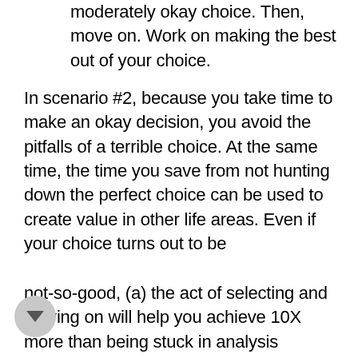moderately okay choice. Then, move on. Work on making the best out of your choice.
In scenario #2, because you take time to make an okay decision, you avoid the pitfalls of a terrible choice. At the same time, the time you save from not hunting down the perfect choice can be used to create value in other life areas. Even if your choice turns out to be
not-so-good, (a) the act of selecting and moving on will help you achieve 10X more than being stuck in analysis